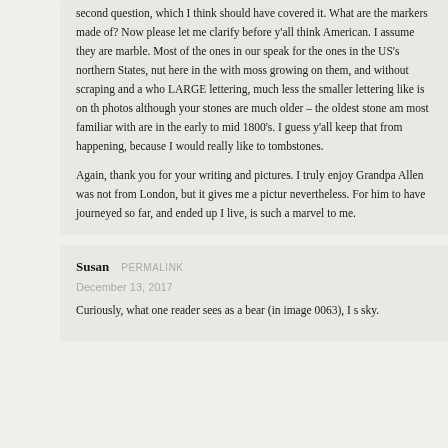second question, which I think should have covered it. What are the markers made of? Now please let me clarify before y'all think American. I assume they are marble. Most of the ones in our speak for the ones in the US's northern States, nut here in the with moss growing on them, and without scraping and a who LARGE lettering, much less the smaller lettering like is on th photos although your stones are much older – the oldest stone am most familiar with are in the early to mid 1800's. I guess y'all keep that from happening, because I would really like to tombstones.
Again, thank you for your writing and pictures. I truly enjoy Grandpa Allen was not from London, but it gives me a pictur nevertheless. For him to have journeyed so far, and ended up I live, is such a marvel to me.
Susan  PERMALINK
December 13, 2017
Curiously, what one reader sees as a bear (in image 0063), I s sky.